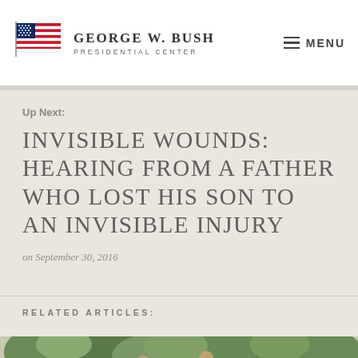George W. Bush Presidential Center
Up Next:
INVISIBLE WOUNDS: HEARING FROM A FATHER WHO LOST HIS SON TO AN INVISIBLE INJURY
on September 30, 2016
RELATED ARTICLES:
[Figure (photo): Outdoor photo showing people among trees, partially visible at bottom of page]